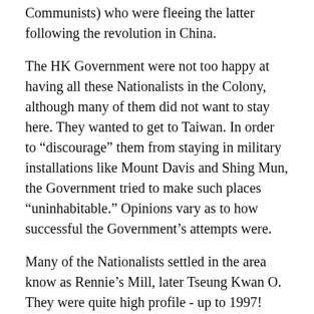Communists) who were fleeing the latter following the revolution in China.
The HK Government were not too happy at having all these Nationalists in the Colony, although many of them did not want to stay here. They wanted to get to Taiwan. In order to “discourage” them from staying in military installations like Mount Davis and Shing Mun, the Government tried to make such places “uninhabitable.” Opinions vary as to how successful the Government’s attempts were.
Many of the Nationalists settled in the area know as Rennie’s Mill, later Tseung Kwan O. They were quite high profile - up to 1997!
re: Pill boxes on the Redoubt